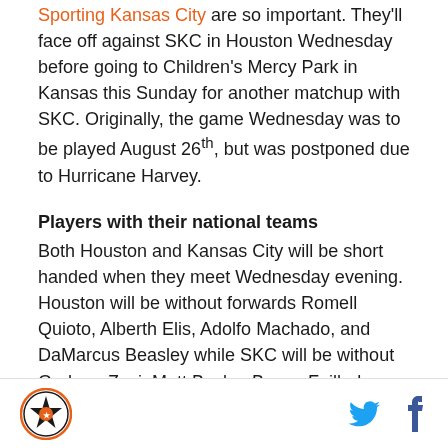That is why the next two games against Sporting Kansas City are so important. They'll face off against SKC in Houston Wednesday before going to Children's Mercy Park in Kansas this Sunday for another matchup with SKC. Originally, the game Wednesday was to be played August 26th, but was postponed due to Hurricane Harvey.
Players with their national teams
Both Houston and Kansas City will be short handed when they meet Wednesday evening. Houston will be without forwards Romell Quioto, Alberth Elis, Adolfo Machado, and DaMarcus Beasley while SKC will be without Graham Zusi, Matt Besler, Benny Feilhaber, and Tim Melia. For the Dynamo, they've got several
Logo and social media icons